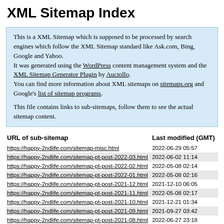XML Sitemap Index
This is a XML Sitemap which is supposed to be processed by search engines which follow the XML Sitemap standard like Ask.com, Bing, Google and Yahoo.
It was generated using the WordPress content management system and the XML Sitemap Generator Plugin by Auctollo.
You can find more information about XML sitemaps on sitemaps.org and Google's list of sitemap programs.

This file contains links to sub-sitemaps, follow them to see the actual sitemap content.
| URL of sub-sitemap | Last modified (GMT) |
| --- | --- |
| https://happy-2ndlife.com/sitemap-misc.html | 2022-06-29 05:57 |
| https://happy-2ndlife.com/sitemap-pt-post-2022-03.html | 2022-06-02 11:14 |
| https://happy-2ndlife.com/sitemap-pt-post-2022-02.html | 2022-05-08 02:14 |
| https://happy-2ndlife.com/sitemap-pt-post-2022-01.html | 2022-05-08 02:16 |
| https://happy-2ndlife.com/sitemap-pt-post-2021-12.html | 2021-12-10 06:05 |
| https://happy-2ndlife.com/sitemap-pt-post-2021-11.html | 2022-05-08 02:17 |
| https://happy-2ndlife.com/sitemap-pt-post-2021-10.html | 2021-12-21 01:34 |
| https://happy-2ndlife.com/sitemap-pt-post-2021-09.html | 2021-09-27 03:42 |
| https://happy-2ndlife.com/sitemap-pt-post-2021-08.html | 2022-06-27 23:18 |
| https://happy-2ndlife.com/sitemap-pt-post-2021-07.html | 2022-05-08 02:17 |